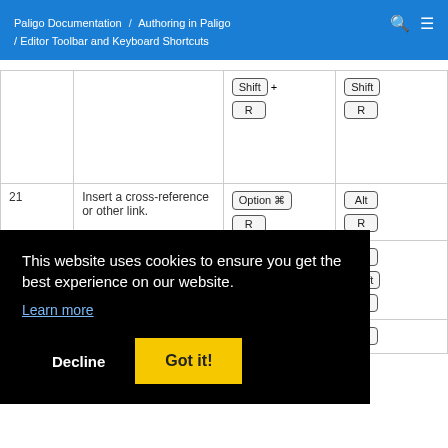Paligo Documentation / Authoring in Paligo / Editor Toolbar and Keyboard Shortcuts
| # | Action | macOS | Windows/Linux |
| --- | --- | --- | --- |
|  | [partial - top] | Shift+R | Shift+R |
| 21 | Insert a cross-reference or other link. | Option ⌥ R | Alt R |
| 22 | [partially visible] | ... | Alt Shift U |
| 23 | Insert an image. | Option ⌥ | Alt |
This website uses cookies to ensure you get the best experience on our website.
Learn more
Decline
Got it!